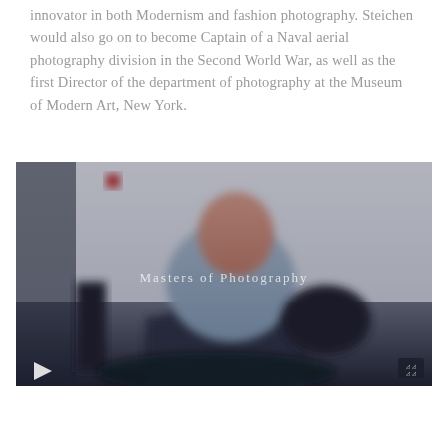innovator in both Modernism and fashion photography. Steichen would also go on to become Captain of a Naval aerial photography division in the Second World War, as well as the first Director of the department of photography at the Museum of Modern Art, New York.
[Figure (screenshot): A blurred video screenshot showing a person seated in a chair against a white wall, with a play button overlay in the lower left and a fullscreen icon in the lower right. A watermark text reads 'Masters of Photography' across the center of the image.]